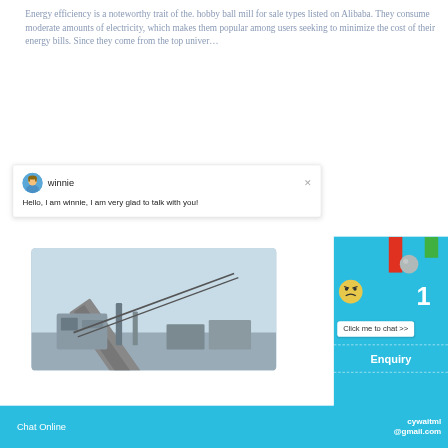Energy efficiency is a noteworthy trait of the. hobby ball mill for sale types listed on Alibaba. They consume moderate amounts of electricity, which makes them popular among users seeking to minimize the cost of their energy bills. Since they come from the top univer…
[Figure (screenshot): Chat popup with avatar of 'winnie' and message: Hello, I am winnie, I am very glad to talk with you!]
[Figure (photo): Industrial conveyor belt and machinery photographed outdoors against a light blue sky]
[Figure (screenshot): Live chat widget on right side showing face emoji, badge with number 1, Click me to chat button, Enquiry section, and email cywaitml@gmail.com]
Chat Online
cywaitml @gmail.com